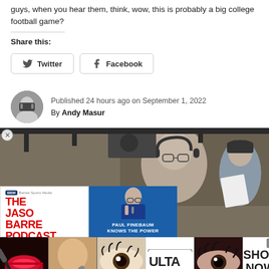guys, when you hear them, think, wow, this is probably a big college football game?
Share this:
[Figure (screenshot): Twitter and Facebook share buttons]
Published 24 hours ago on September 1, 2022
By Andy Masur
[Figure (photo): Photo of a man with headphones at a broadcast booth, with podcast overlay ad for The Jason Barrett Podcast featuring Paul Finebaum Knows the Power]
[Figure (infographic): Bottom advertisement banner showing Ulta Beauty products and SHOP NOW call to action]